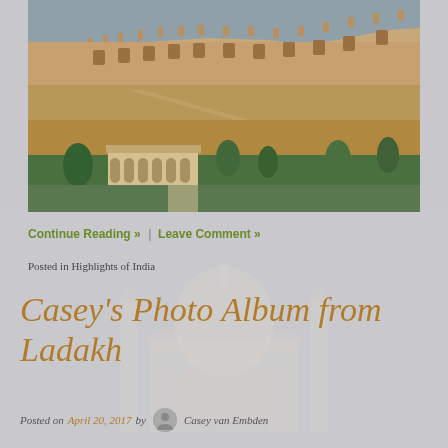[Figure (photo): Aerial view of Amber Fort in Jaipur, India, showing the large sandstone fortification on a hillside with green gardens and a pavilion with arches in the foreground]
Continue Reading » | Leave Comment »
Posted in Highlights of India
Casey's Photo Album from Ladakh
Posted on April 20, 2017 by Casey van Embden